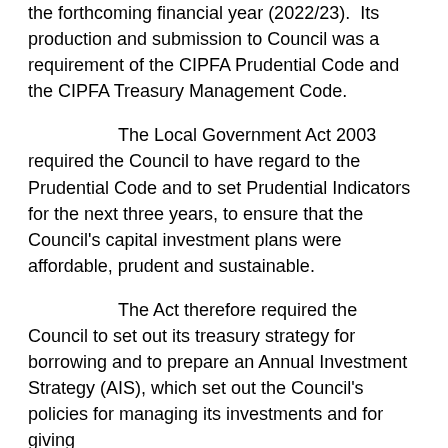the forthcoming financial year (2022/23).  Its production and submission to Council was a requirement of the CIPFA Prudential Code and the CIPFA Treasury Management Code.
The Local Government Act 2003 required the Council to have regard to the Prudential Code and to set Prudential Indicators for the next three years, to ensure that the Council's capital investment plans were affordable, prudent and sustainable.
The Act therefore required the Council to set out its treasury strategy for borrowing and to prepare an Annual Investment Strategy (AIS), which set out the Council's policies for managing its investments and for giving